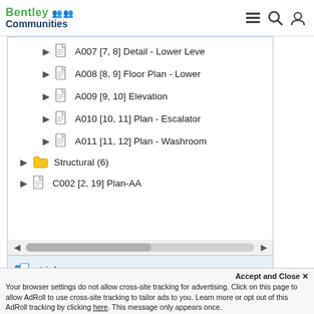Bentley Communities
[Figure (screenshot): Software UI tree panel showing file entries: A007 [7,8] Detail - Lower Leve, A008 [8,9] Floor Plan - Lower, A009 [9,10] Elevation, A010 [10,11] Plan - Escalator, A011 [11,12] Plan - Washroom, Structural (6) folder, C002 [2,19] Plan-AA, with horizontal scrollbar and Links bar at bottom]
There are different ways in which you can add a sheet to the sheet
index.
Your browser settings do not allow cross-site tracking for advertising. Click on this page to allow AdRoll to use cross-site tracking to tailor ads to you. Learn more or opt out of this AdRoll tracking by clicking here. This message only appears once.